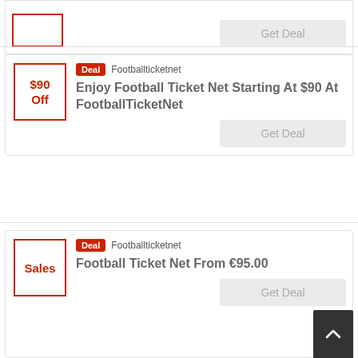[Figure (other): Partial top deal card showing a red-bordered badge box and a 'Get Deal' grey button]
Deal Footballticketnet | Enjoy Football Ticket Net Starting At $90 At FootballTicketNet | Get Deal
Deal Footballticketnet | Football Ticket Net From €95.00 | Get Deal